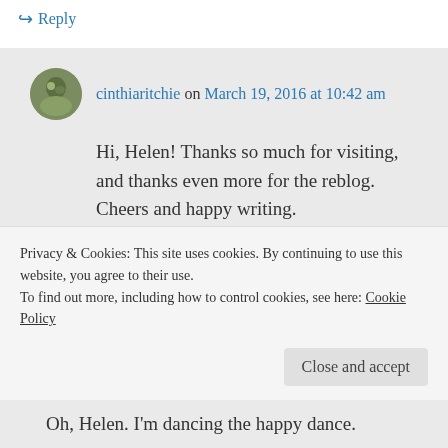↳ Reply
cinthiaritchie on March 19, 2016 at 10:42 am
Hi, Helen! Thanks so much for visiting, and thanks even more for the reblog. Cheers and happy writing.
Like
↳ Reply
Privacy & Cookies: This site uses cookies. By continuing to use this website, you agree to their use.
To find out more, including how to control cookies, see here: Cookie Policy
Close and accept
Oh, Helen. I'm dancing the happy dance.